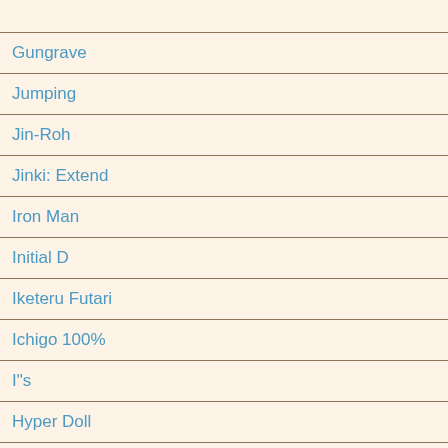| (partial entry above) |
| Gungrave |
| Jumping |
| Jin-Roh |
| Jinki: Extend |
| Iron Man |
| Initial D |
| Iketeru Futari |
| Ichigo 100% |
| I"s |
| Hyper Doll |
| Hunter X Hunter |
| His and Her Circumstances |
| Hikaru no Go |
| High School of the Dead |